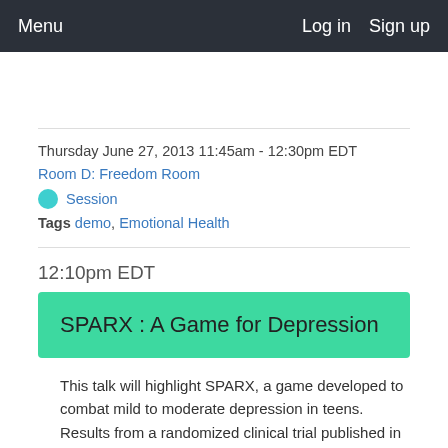Menu  Log in  Sign up
Thursday June 27, 2013 11:45am - 12:30pm EDT
Room D: Freedom Room
Session
Tags demo, Emotional Health
12:10pm EDT
SPARX : A Game for Depression
This talk will highlight SPARX, a game developed to combat mild to moderate depression in teens. Results from a randomized clinical trial published in the British Medical